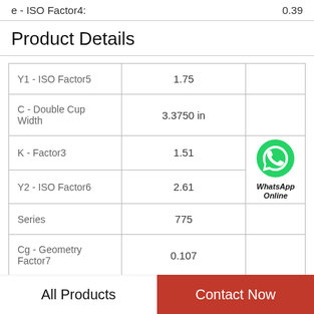e - ISO Factor4:    0.39
Product Details
| Y1 - ISO Factor5 | 1.75 |  |
| C - Double Cup Width | 3.3750 in |  |
| K - Factor3 | 1.51 | WhatsApp Online |
| Y2 - ISO Factor6 | 2.61 |  |
| Series | 775 |  |
| Cg - Geometry Factor7 | 0.107 |  |
All Products
Contact Now